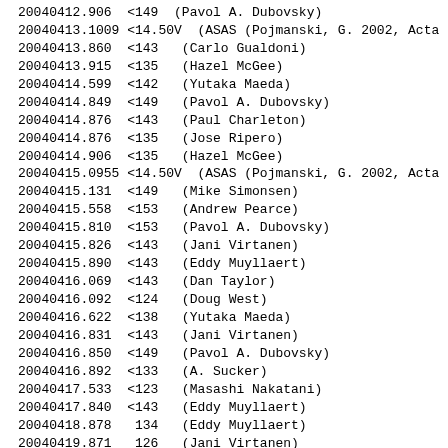20040412.906  <149  (Pavol A. Dubovsky)
20040413.1009 <14.50V  (ASAS (Pojmanski, G. 2002, Acta
20040413.860  <143   (Carlo Gualdoni)
20040413.915  <135   (Hazel McGee)
20040414.599  <142   (Yutaka Maeda)
20040414.849  <149   (Pavol A. Dubovsky)
20040414.876  <143   (Paul Charleton)
20040414.876  <135   (Jose Ripero)
20040414.906  <135   (Hazel McGee)
20040415.0955 <14.50V  (ASAS (Pojmanski, G. 2002, Acta
20040415.131  <149   (Mike Simonsen)
20040415.558  <153   (Andrew Pearce)
20040415.810  <153   (Pavol A. Dubovsky)
20040415.826  <143   (Jani Virtanen)
20040415.890  <143   (Eddy Muyllaert)
20040416.069  <143   (Dan Taylor)
20040416.092  <124   (Doug West)
20040416.622  <138   (Yutaka Maeda)
20040416.831  <143   (Jani Virtanen)
20040416.850  <149   (Pavol A. Dubovsky)
20040416.892  <133   (A. Sucker)
20040417.533  <123   (Masashi Nakatani)
20040417.840  <143   (Eddy Muyllaert)
20040418.878   134   (Eddy Muyllaert)
20040419.871   126   (Jani Virtanen)
20040419.872   125   (Georg Comello)
20040419.873   126   (Carlo Gualdoni)
20040419.894   130   (Hazel McGee)
20040419.907   126   (Gary Poyner)
20040419.912   127   (Paul Charleton)